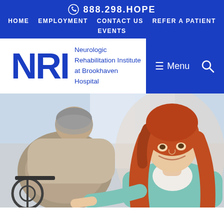888.298.HOPE
HOME  EMPLOYMENT  CONTACT US  REFER A PATIENT  EVENTS
NRI Neurologic Rehabilitation Institute at Brookhaven Hospital
≡ Menu
[Figure (photo): A young woman with long red hair wearing a teal cardigan smiles and reaches out toward an elderly person seen from behind, seated in a wheelchair, in a bright clinical setting.]